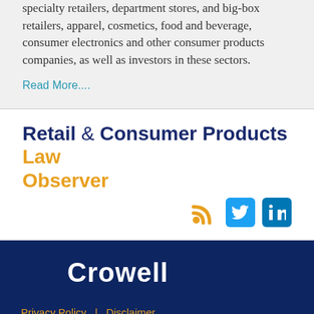specialty retailers, department stores, and big-box retailers, apparel, cosmetics, food and beverage, consumer electronics and other consumer products companies, as well as investors in these sectors.
Read More....
Retail & Consumer Products Law Observer
[Figure (other): Social media icons: RSS feed (orange), Twitter (blue bird on blue background), LinkedIn (in on blue background)]
[Figure (logo): Crowell law firm logo - white C-shaped symbol with Crowell text in white on dark navy background]
Privacy Policy | Disclaimer